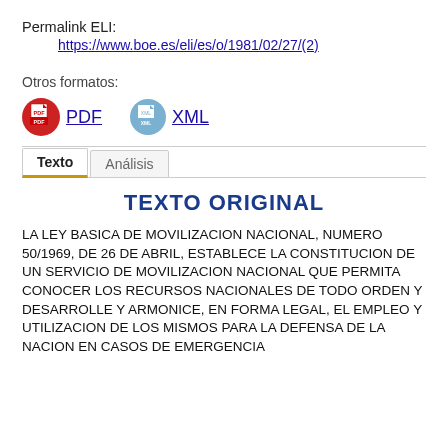Permalink ELI:
https://www.boe.es/eli/es/o/1981/02/27/(2)
Otros formatos:
[Figure (other): PDF and XML format icons with links]
TEXTO ORIGINAL
LA LEY BASICA DE MOVILIZACION NACIONAL, NUMERO 50/1969, DE 26 DE ABRIL, ESTABLECE LA CONSTITUCION DE UN SERVICIO DE MOVILIZACION NACIONAL QUE PERMITA CONOCER LOS RECURSOS NACIONALES DE TODO ORDEN Y DESARROLLE Y ARMONICE, EN FORMA LEGAL, EL EMPLEO Y UTILIZACION DE LOS MISMOS PARA LA DEFENSA DE LA NACION EN CASOS DE EMERGENCIA